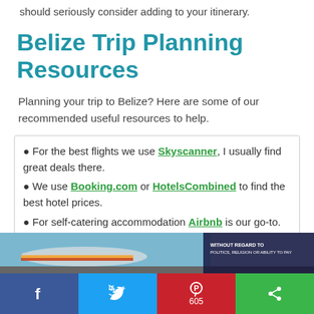should seriously consider adding to your itinerary.
Belize Trip Planning Resources
Planning your trip to Belize? Here are some of our recommended useful resources to help.
For the best flights we use Skyscanner, I usually find great deals there.
We use Booking.com or HotelsCombined to find the best hotel prices.
For self-catering accommodation Airbnb is our go-to.
We always check accommodation reviews on TripAdvisor before booking.
Even in the modern days of Google we still like to use
[Figure (photo): Airplane on tarmac being loaded with cargo; advertisement banner with text WITHOUT REGARD TO POLITICS, RELIGION OR ABILITY TO PAY]
[Figure (infographic): Social media share bar with Facebook, Twitter, Pinterest (605 shares), and another share button]